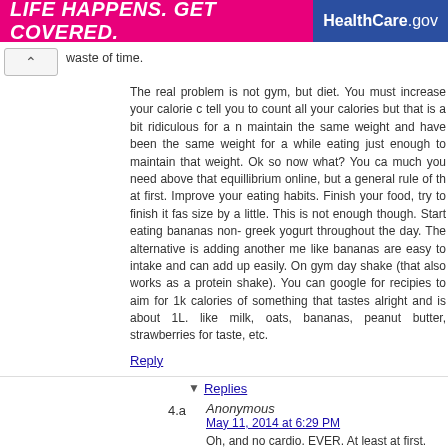[Figure (logo): HealthCare.gov banner with pink background reading LIFE HAPPENS. GET COVERED. and blue section with HealthCare.gov logo]
waste of time.
The real problem is not gym, but diet. You must increase your calorie count tell you to count all your calories but that is a bit ridiculous for a n maintain the same weight and have been the same weight for a while eating just enough to maintain that weight. Ok so now what? You ca much you need above that equillibrium online, but a general rule of th at first. Improve your eating habits. Finish your food, try to finish it fa size by a little. This is not enough though. Start eating bananas non greek yogurt throughout the day. The alternative is adding another m like bananas are easy to intake and can add up easily. On gym da shake (that also works as a protein shake). You can google for recipie to aim for 1k calories of something that tastes alright and is about 1L. like milk, oats, bananas, peanut butter, strawberries for taste, etc.
Reply
Replies
4.a Anonymous
May 11, 2014 at 6:29 PM
Oh, and no cardio. EVER. At least at first. You are trying to bu possible during gym time.
5 Anonymous